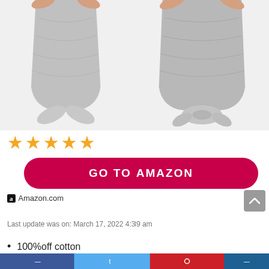[Figure (photo): Two grey baby swaddle sleep sacks with knotted bottoms, shown from waist down on white background]
★★★★★
GO TO AMAZON
a Amazon.com
Last update was on: March 17, 2022 4:39 am
100%off cotton